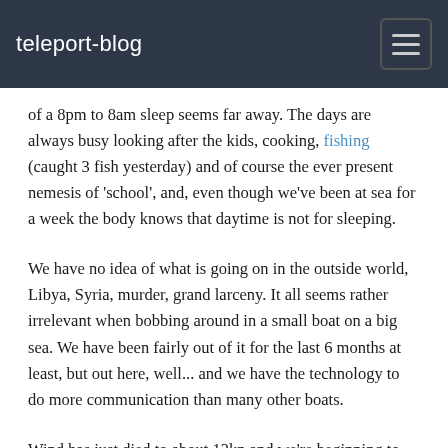teleport-blog
of a 8pm to 8am sleep seems far away. The days are always busy looking after the kids, cooking, fishing (caught 3 fish yesterday) and of course the ever present nemesis of 'school', and, even though we've been at sea for a week the body knows that daytime is not for sleeping.
We have no idea of what is going on in the outside world, Libya, Syria, murder, grand larceny. It all seems rather irrelevant when bobbing around in a small boat on a big sea. We have been fairly out of it for the last 6 months at least, but out here, well... and we have the technology to do more communication than many other boats.
Wind has just died to about 12kn and we're beginning to flog around. We have still got one reef in and I wont take that out till tomorrow, but hopefully the breeze will fill in again and I wont have to. Reefing on the boat is actually quite easy and